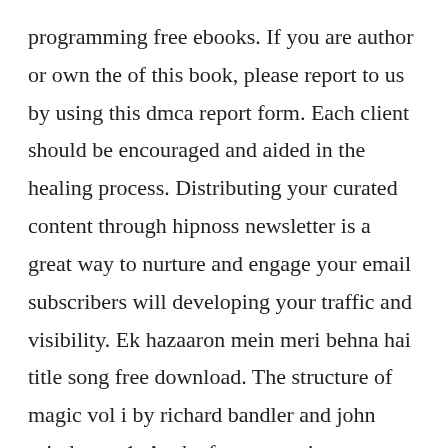programming free ebooks. If you are author or own the of this book, please report to us by using this dmca report form. Each client should be encouraged and aided in the healing process. Distributing your curated content through hipnoss newsletter is a great way to nurture and engage your email subscribers will developing your traffic and visibility. Ek hazaaron mein meri behna hai title song free download. The structure of magic vol i by richard bandler and john grinder ocr1. As the famous saying goes an hour of hypnosis is